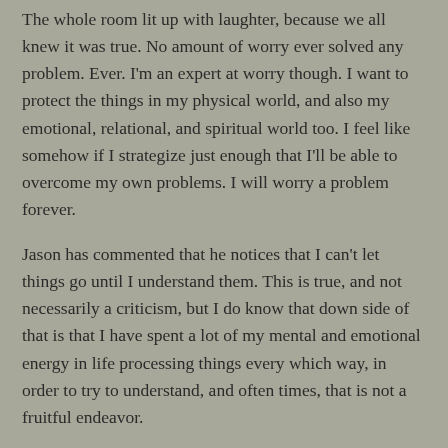The whole room lit up with laughter, because we all knew it was true. No amount of worry ever solved any problem. Ever. I'm an expert at worry though. I want to protect the things in my physical world, and also my emotional, relational, and spiritual world too. I feel like somehow if I strategize just enough that I'll be able to overcome my own problems. I will worry a problem forever.
Jason has commented that he notices that I can't let things go until I understand them. This is true, and not necessarily a criticism, but I do know that down side of that is that I have spent a lot of my mental and emotional energy in life processing things every which way, in order to try to understand, and often times, that is not a fruitful endeavor.
If I can't control it, how do I move to accept the things I can't change? Surrender and acceptance is the way forward. It starts with an analysis of the situation, and for me that